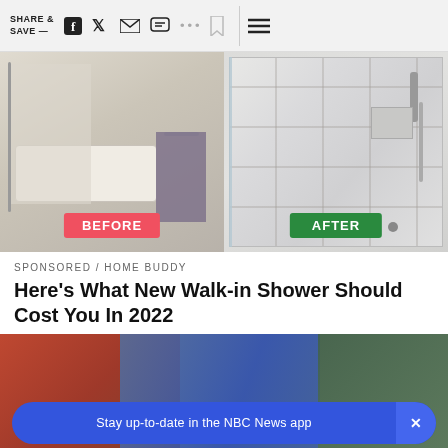SHARE & SAVE —
[Figure (photo): Before and after comparison: left panel shows old bathtub with shower curtain labeled BEFORE in red; right panel shows new walk-in marble tile shower with glass door labeled AFTER in green]
SPONSORED / HOME BUDDY
Here's What New Walk-in Shower Should Cost You In 2022
[Figure (photo): Partial photo of a person working on a roof or outdoor home improvement project]
Stay up-to-date in the NBC News app